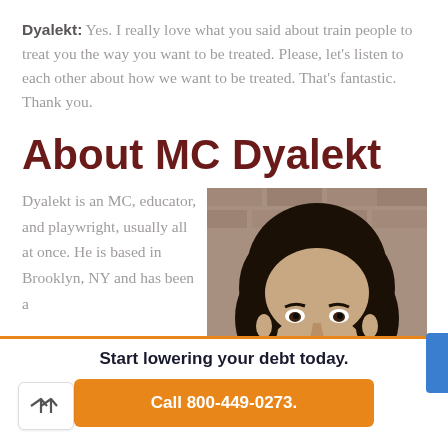Dyalekt: Yes. I really love what you said about train people to treat you the way you want to be treated. Please, let's listen to each other about how we want to be treated. That's fantastic. Thank you.
About MC Dyalekt
Dyalekt is an MC, educator, and playwright, usually all at once. He is based in Brooklyn, NY and has been a
[Figure (photo): Portrait photo of MC Dyalekt, a man with long curly dark hair, looking at the camera, with a brick wall background.]
Start lowering your debt today.
Call 800-449-0273.